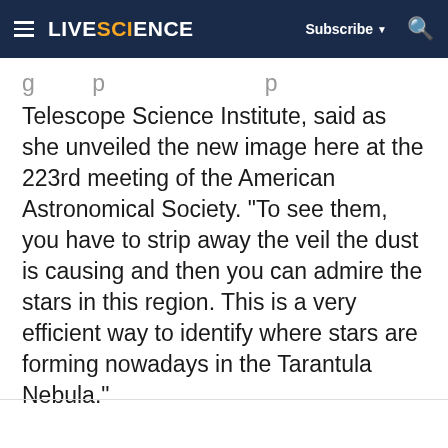LIVESCIENCE | Subscribe | Search
Telescope Science Institute, said as she unveiled the new image here at the 223rd meeting of the American Astronomical Society. "To see them, you have to strip away the veil the dust is causing and then you can admire the stars in this region. This is a very efficient way to identify where stars are forming nowadays in the Tarantula Nebula."